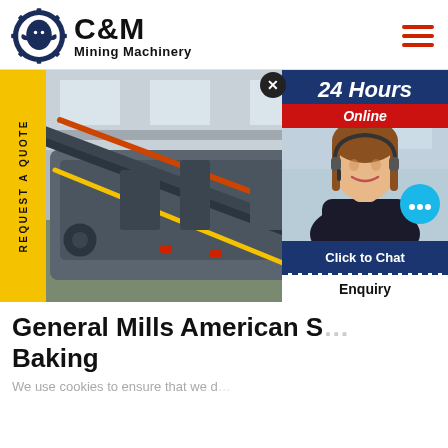[Figure (logo): C&M Mining Machinery logo: dark blue gear/eagle emblem on the left, bold text 'C&M' and 'Mining Machinery' on the right]
[Figure (photo): Industrial mining/crushing machinery in a factory setting, showing conveyor belts and large crushing equipment with red accents, viewed from a low angle inside a warehouse]
[Figure (other): Yellow sidebar tab with rotated text 'REQUEST A QUOTE']
[Figure (other): Chat widget overlay showing '24 Hours Online' header in blue/red, female customer service agent with headset, teal chat bubble icon, 'Click to Chat' button, and 'Enquiry' section]
General Mills American S… Baking
We use cookies to ensure that we d…